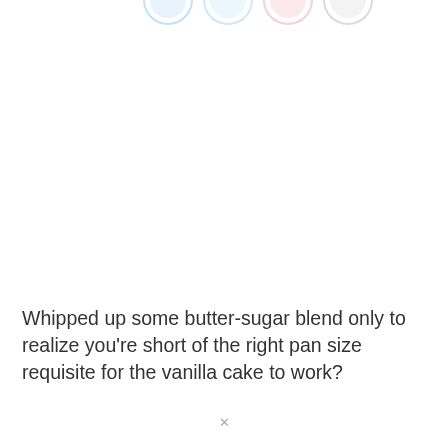[Figure (illustration): Partial view of decorative circular icons or avatar placeholders at the very top of the page, cropped at the top edge. Several pastel-colored circular shapes visible.]
Whipped up some butter-sugar blend only to realize you’re short of the right pan size requisite for the vanilla cake to work?